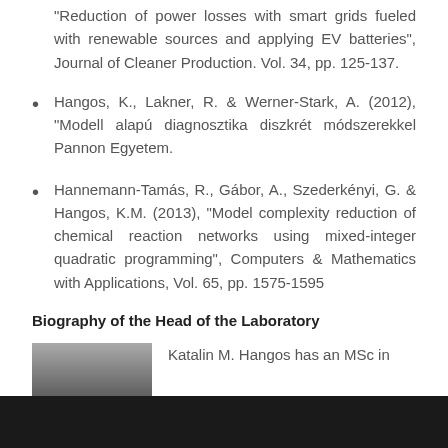"Reduction of power losses with smart grids fueled with renewable sources and applying EV batteries", Journal of Cleaner Production. Vol. 34, pp. 125-137.
Hangos, K., Lakner, R. & Werner-Stark, A. (2012), "Modell alapú diagnosztika diszkrét módszerekkel Pannon Egyetem.
Hannemann-Tamás, R., Gábor, A., Szederkényi, G. & Hangos, K.M. (2013), "Model complexity reduction of chemical reaction networks using mixed-integer quadratic programming", Computers & Mathematics with Applications, Vol. 65, pp. 1575-1595
Biography of the Head of the Laboratory
[Figure (photo): Partial photo of a person's head/face, cropped at the bottom of the page]
Katalin M. Hangos has an MSc in